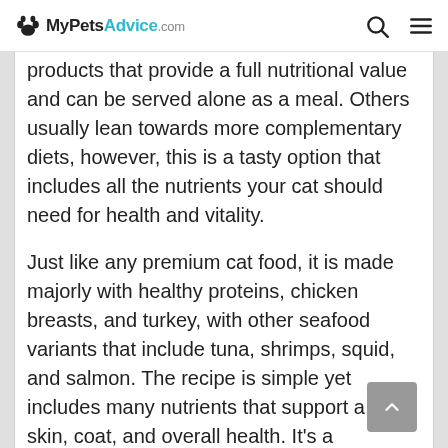MyPetsAdvice.com
products that provide a full nutritional value and can be served alone as a meal. Others usually lean towards more complementary diets, however, this is a tasty option that includes all the nutrients your cat should need for health and vitality.
Just like any premium cat food, it is made majorly with healthy proteins, chicken breasts, and turkey, with other seafood variants that include tuna, shrimps, squid, and salmon. The recipe is simple yet includes many nutrients that support a cat's skin, coat, and overall health. It's a